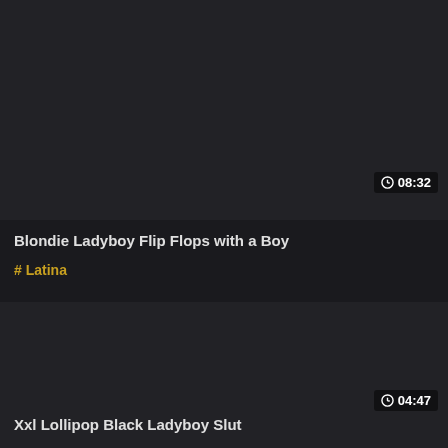[Figure (screenshot): Dark thumbnail area for video 1]
08:32
Blondie Ladyboy Flip Flops with a Boy
# Latina
[Figure (screenshot): Dark thumbnail area for video 2]
04:47
Xxl Lollipop Black Ladyboy Slut